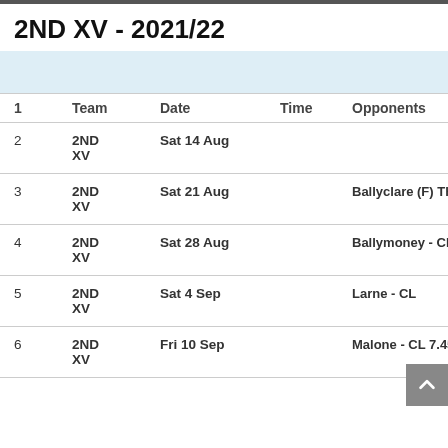2ND XV - 2021/22
| 1 | Team | Date | Time | Opponents |
| --- | --- | --- | --- | --- |
| 2 | 2ND XV | Sat 14 Aug |  |  |
| 3 | 2ND XV | Sat 21 Aug |  | Ballyclare (F) Thu 7.45 |
| 4 | 2ND XV | Sat 28 Aug |  | Ballymoney - CL |
| 5 | 2ND XV | Sat 4 Sep |  | Larne - CL |
| 6 | 2ND XV | Fri 10 Sep |  | Malone - CL 7.45pm |